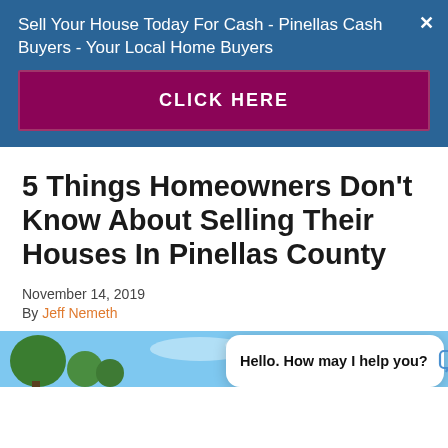Sell Your House Today For Cash - Pinellas Cash Buyers - Your Local Home Buyers
CLICK HERE
5 Things Homeowners Don't Know About Selling Their Houses In Pinellas County
November 14, 2019
By Jeff Nemeth
[Figure (photo): Outdoor photo showing blue sky with green trees, partially visible at the bottom of the page]
Hello. How may I help you?